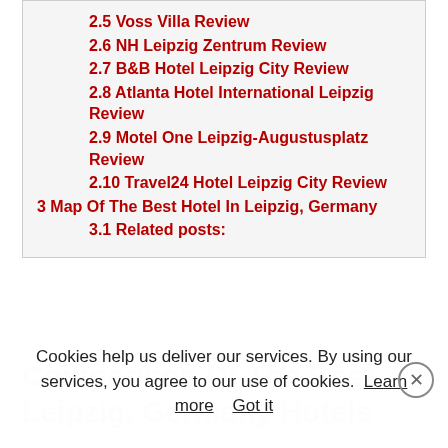2.5 Voss Villa Review
2.6 NH Leipzig Zentrum Review
2.7 B&B Hotel Leipzig City Review
2.8 Atlanta Hotel International Leipzig Review
2.9 Motel One Leipzig-Augustusplatz Review
2.10 Travel24 Hotel Leipzig City Review
3 Map Of The Best Hotel In Leipzig, Germany
3.1 Related posts:
Cookies help us deliver our services. By using our services, you agree to our use of cookies. Learn more Got it